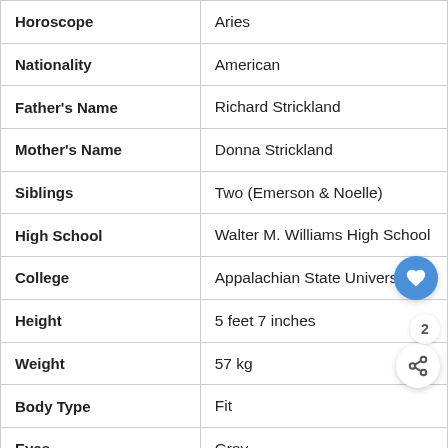| Field | Value |
| --- | --- |
| Horoscope | Aries |
| Nationality | American |
| Father's Name | Richard Strickland |
| Mother's Name | Donna Strickland |
| Siblings | Two (Emerson & Noelle) |
| High School | Walter M. Williams High School |
| College | Appalachian State University |
| Height | 5 feet 7 inches |
| Weight | 57 kg |
| Body Type | Fit |
| Eyes | Gray |
| Hair | Blonde |
| Marital Status | In a Relationship |